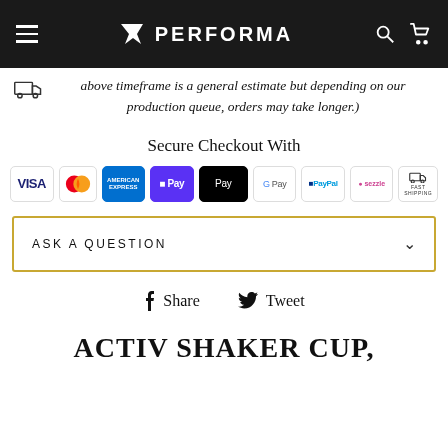PERFORMA
above timeframe is a general estimate but depending on our production queue, orders may take longer.)
Secure Checkout With
[Figure (infographic): Payment method icons: VISA, Mastercard, American Express, Shop Pay, Apple Pay, Google Pay, PayPal, Sezzle, Fast Shipping]
ASK A QUESTION
Share  Tweet
ACTIV SHAKER CUP,